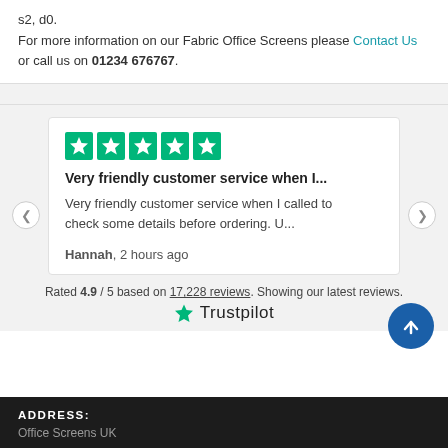s2, d0.
For more information on our Fabric Office Screens please Contact Us or call us on 01234 676767.
[Figure (other): Trustpilot review widget showing 5 stars, review title 'Very friendly customer service when I...', review body text, reviewer name Hannah 2 hours ago, rating 4.9/5 based on 17,228 reviews, Trustpilot logo]
Rated 4.9 / 5 based on 17,228 reviews. Showing our latest reviews.
ADDRESS:
Office Screens UK